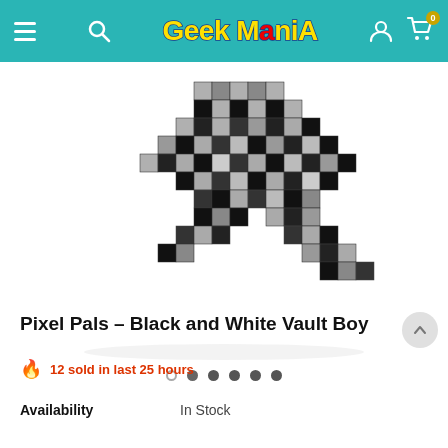Geek Mania — navigation header with hamburger menu, search, logo, user icon, and cart (0)
[Figure (photo): Pixel art black and white Vault Boy figure made of cubic blocks, shown from a slightly elevated angle. The figure is predominantly black and silver/grey cubes arranged in a pixelated humanoid character form.]
Carousel navigation dots (6 dots, first empty, rest filled)
Pixel Pals – Black and White Vault Boy
🔥 12 sold in last 25 hours
Availability    In Stock